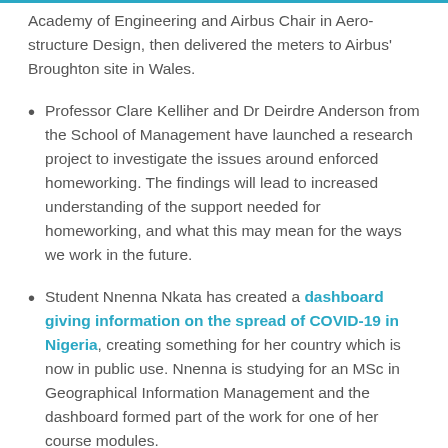Academy of Engineering and Airbus Chair in Aero-structure Design, then delivered the meters to Airbus' Broughton site in Wales.
Professor Clare Kelliher and Dr Deirdre Anderson from the School of Management have launched a research project to investigate the issues around enforced homeworking. The findings will lead to increased understanding of the support needed for homeworking, and what this may mean for the ways we work in the future.
Student Nnenna Nkata has created a dashboard giving information on the spread of COVID-19 in Nigeria, creating something for her country which is now in public use. Nnenna is studying for an MSc in Geographical Information Management and the dashboard formed part of the work for one of her course modules.